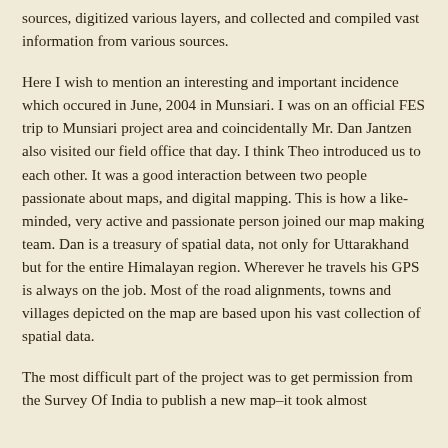sources, digitized various layers, and collected and compiled vast information from various sources.
Here I wish to mention an interesting and important incidence which occured in June, 2004 in Munsiari. I was on an official FES trip to Munsiari project area and coincidentally Mr. Dan Jantzen also visited our field office that day. I think Theo introduced us to each other. It was a good interaction between two people passionate about maps, and digital mapping. This is how a like-minded, very active and passionate person joined our map making team. Dan is a treasury of spatial data, not only for Uttarakhand but for the entire Himalayan region. Wherever he travels his GPS is always on the job. Most of the road alignments, towns and villages depicted on the map are based upon his vast collection of spatial data.
The most difficult part of the project was to get permission from the Survey Of India to publish a new map–it took almost